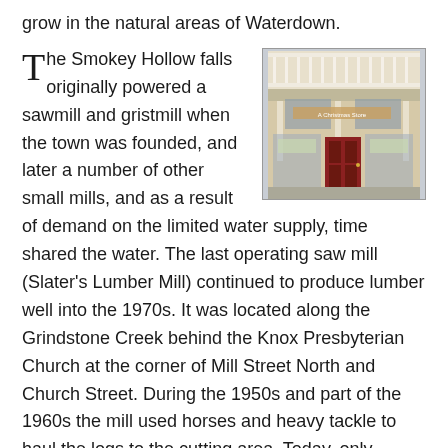grow in the natural areas of Waterdown.
[Figure (photo): Photograph of a historic building storefront with a covered porch/veranda, white railings on upper level, and a red door entrance, appears to be a commercial building in Waterdown.]
The Smokey Hollow falls originally powered a sawmill and gristmill when the town was founded, and later a number of other small mills, and as a result of demand on the limited water supply, time shared the water. The last operating saw mill (Slater's Lumber Mill) continued to produce lumber well into the 1970s. It was located along the Grindstone Creek behind the Knox Presbyterian Church at the corner of Mill Street North and Church Street. During the 1950s and part of the 1960s the mill used horses and heavy tackle to haul the logs to the cutting area. Today, only remote foundation ruins of the mills remain, although a lookout over the falls and a signboard